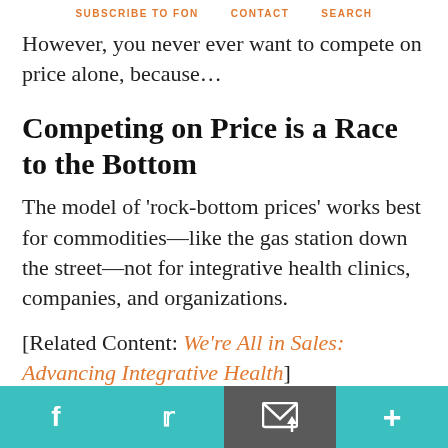SUBSCRIBE TO FON   CONTACT   SEARCH
However, you never ever want to compete on price alone, because…
Competing on Price is a Race to the Bottom
The model of 'rock-bottom prices' works best for commodities—like the gas station down the street—not for integrative health clinics, companies, and organizations.
[Related Content: We're All in Sales: Advancing Integrative Health]